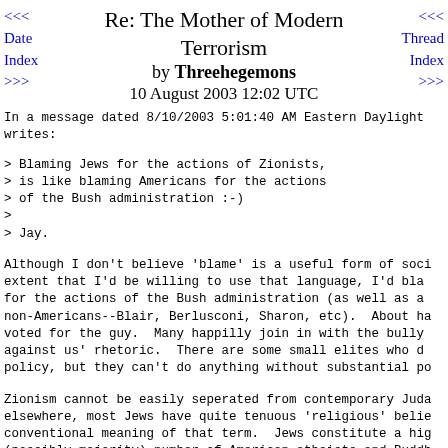<<< Date Index >>> | Re: The Mother of Modern Terrorism by Threehegemons 10 August 2003 12:02 UTC | <<< Thread Index >>>
In a message dated 8/10/2003 5:01:40 AM Eastern Daylight writes:
> Blaming Jews for the actions of Zionists,
> is like blaming Americans for the actions
> of the Bush administration :-)
>
> Jay.
Although I don't believe 'blame' is a useful form of soci extent that I'd be willing to use that language, I'd bla for the actions of the Bush administration (as well as a non-Americans--Blair, Berlusconi, Sharon, etc).  About ha voted for the guy.  Many happilly join in with the bully against us' rhetoric.  There are some small elites who d policy, but they can't do anything without substantial po
Zionism cannot be easily seperated from contemporary Juda elsewhere, most Jews have quite tenuous 'religious' belie conventional meaning of that term.  Jews constitute a hig (possibly majority) number of American atheists and Buddh institutions find their coherence not through rhetoric ab but by talking about support for Israel.